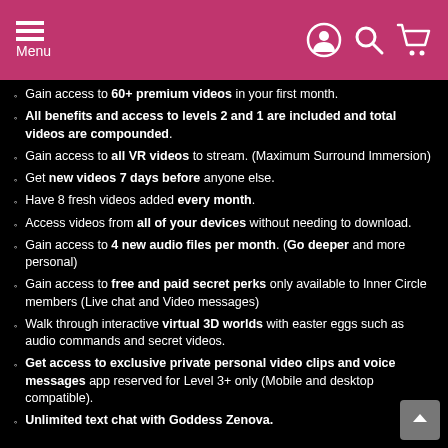Menu
Gain access to 60+ premium videos in your first month.
All benefits and access to levels 2 and 1 are included and total videos are compounded.
Gain access to all VR videos to stream. (Maximum Surround Immersion)
Get new videos 7 days before anyone else.
Have 8 fresh videos added every month.
Access videos from all of your devices without needing to download.
Gain access to 4 new audio files per month. (Go deeper and more personal)
Gain access to free and paid secret perks only available to Inner Circle members (Live chat and Video messages)
Walk through interactive virtual 3D worlds with easter eggs such as audio commands and secret videos.
Get access to exclusive private personal video clips and voice messages app reserved for Level 3+ only (Mobile and desktop compatible).
Unlimited text chat with Goddess Zenova.